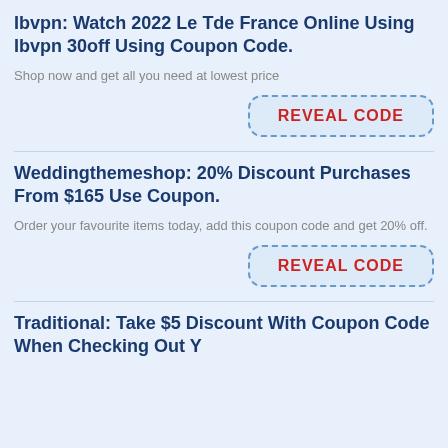Ibvpn: Watch 2022 Le Tde France Online Using Ibvpn 30off Using Coupon Code.
Shop now and get all you need at lowest price
[Figure (other): REVEAL CODE button with dashed blue border and red bold text on light blue background]
Weddingthemeshop: 20% Discount Purchases From $165 Use Coupon.
Order your favourite items today, add this coupon code and get 20% off.
[Figure (other): REVEAL CODE button with dashed blue border and red bold text on light blue background]
Traditional: Take $5 Discount With Coupon Code When Checking Out Y...